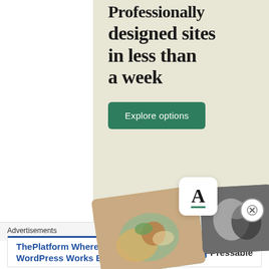[Figure (screenshot): Advertisement for a website building service showing large serif text 'Professionally designed sites in less than a week' on a beige/cream background with a green 'Explore options' button and mock website screenshots with food photos and an 'A' logo card]
Advertisements
[Figure (screenshot): Banner advertisement: 'ThePlatform Where WordPress Works Best' with Pressable logo on the right]